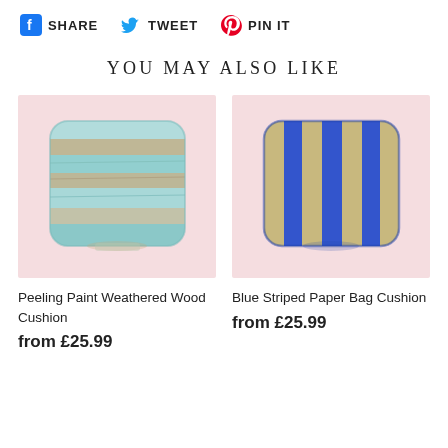[Figure (other): Social sharing bar with Facebook Share, Twitter Tweet, Pinterest Pin It icons]
YOU MAY ALSO LIKE
[Figure (photo): Peeling Paint Weathered Wood Cushion product photo on pink background]
[Figure (photo): Blue Striped Paper Bag Cushion product photo on pink background]
Peeling Paint Weathered Wood Cushion
from £25.99
Blue Striped Paper Bag Cushion
from £25.99